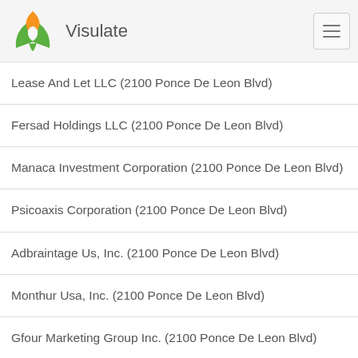Visulate
Lease And Let LLC (2100 Ponce De Leon Blvd)
Fersad Holdings LLC (2100 Ponce De Leon Blvd)
Manaca Investment Corporation (2100 Ponce De Leon Blvd)
Psicoaxis Corporation (2100 Ponce De Leon Blvd)
Adbraintage Us, Inc. (2100 Ponce De Leon Blvd)
Monthur Usa, Inc. (2100 Ponce De Leon Blvd)
Gfour Marketing Group Inc. (2100 Ponce De Leon Blvd)
The Josephs Law Firm, Pa (2100 Ponce De Leon Blvd)
Marketing & Business Consulting For The Americas Inc (2100 Ponce De Leon Blvd)